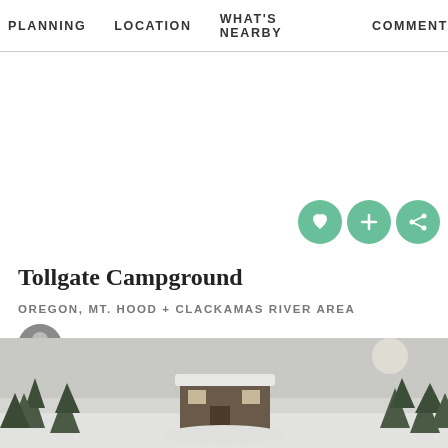PLANNING   LOCATION   WHAT'S NEARBY   COMMENT
Tollgate Campground
OREGON, MT. HOOD + CLACKAMAS RIVER AREA
Tyson Gillard
[Figure (photo): Winter scene of a snow-covered cabin or structure surrounded by snow-laden evergreen trees in a grey winter setting]